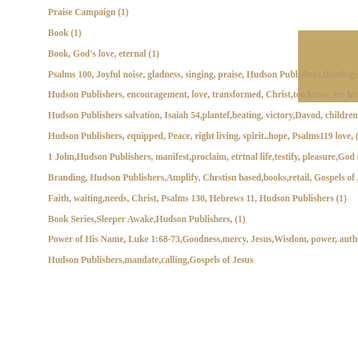Praise Campaign (1)
Book (1)
Book, God's love, eternal (1)
Psalms 100, Joyful noise, gladness, singing, praise, Hudson Publishers,thanksgiving,everlasting (1)
Hudson Publishers, encouragement, love, transformed, Christ,too know, see him, 1 John 3:1-2 (1)
Hudson Publishers salvation, Isaiah 54,plantef,beating, victory,Davod, children,decendants. (1)
Hudson Publishers, equipped, Peace, right living, spirit..hope, Psalms119 love, (1)
1 John,Hudson Publishers, manifest,proclaim, etrtnal life,testify, pleasure,God (1)
Branding, Hudson Publishers,Amplify, Chrstisn based,books,retail, Gospels of Jesus Christ (1)
Faith, waiting,needs, Christ, Psalms 130, Hebrews 11, Hudson Publishers (1)
Book Series,Sleeper Awake,Hudson Publishers, (1)
Power of His Name, Luke 1:68-73,Goodness,mercy, Jesus,Wisdom, power, authority,fallen, forgiveness (1)
Hudson Publishers,mandate,calling,Gospels of Jesus